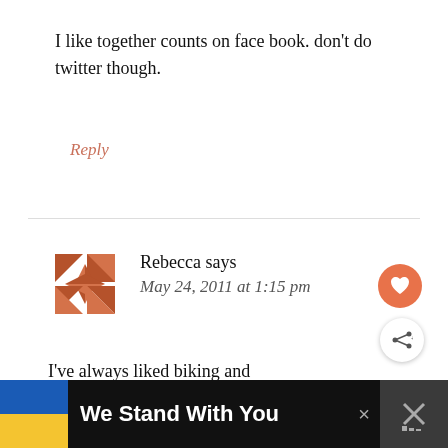I like together counts on face book. don't do twitter though.
Reply
Rebecca says
May 24, 2011 at 1:15 pm
I've always liked biking and evening walks!
Reply
We Stand With You